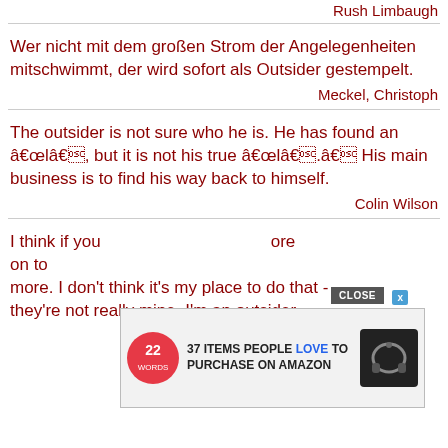Rush Limbaugh
Wer nicht mit dem großen Strom der Angelegenheiten mitschwimmt, der wird sofort als Outsider gestempelt.
Meckel, Christoph
The outsider is not sure who he is. He has found an âlâ, but it is not his true âlâ.â His main business is to find his way back to himself.
Colin Wilson
I think if you... I think living with the more on to ... more. I don't think it's my place to do that - they're not really mine. I'm an outsider.
[Figure (screenshot): Advertisement overlay: '37 ITEMS PEOPLE LOVE TO PURCHASE ON AMAZON' with 22Words logo and headphone product image, plus a CLOSE button]